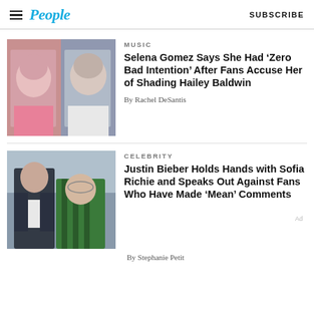People  SUBSCRIBE
[Figure (photo): Two women side by side: Selena Gomez on left in pink turtleneck, Hailey Baldwin on right in white]
MUSIC
Selena Gomez Says She Had ‘Zero Bad Intention’ After Fans Accuse Her of Shading Hailey Baldwin
By Rachel DeSantis
[Figure (photo): Justin Bieber and Sofia Richie walking together, Justin in black jacket, Sofia in green striped jacket adjusting glasses]
CELEBRITY
Justin Bieber Holds Hands with Sofia Richie and Speaks Out Against Fans Who Have Made ‘Mean’ Comments
By Stephanie Petit